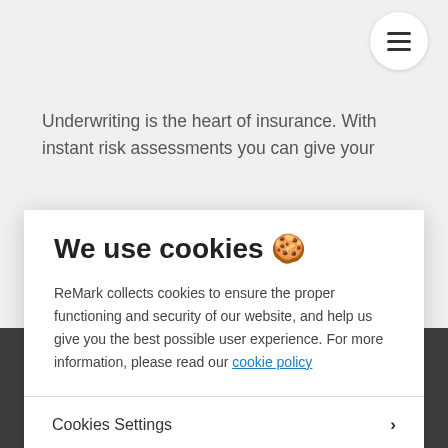Underwriting is the heart of insurance. With instant risk assessments you can give your
We use cookies 🍪
ReMark collects cookies to ensure the proper functioning and security of our website, and help us give you the best possible user experience. For more information, please read our cookie policy
Cookies Settings
Deny All
Accept All